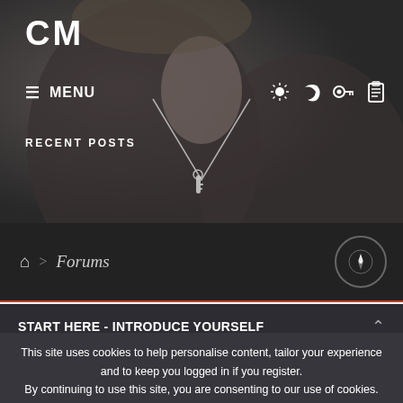[Figure (screenshot): Website header with hero image showing a woman wearing a silver key necklace on a dark background]
CM
≡ MENU
RECENT POSTS
🏠 > Forums
START HERE - INTRODUCE YOURSELF
This site uses cookies to help personalise content, tailor your experience and to keep you logged in if you register.
By continuing to use this site, you are consenting to our use of cookies.
Accept   Learn More...